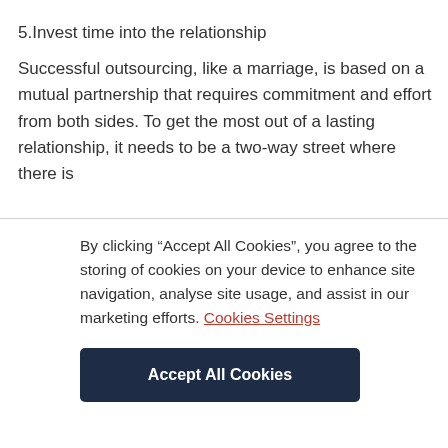5.Invest time into the relationship
Successful outsourcing, like a marriage, is based on a mutual partnership that requires commitment and effort from both sides. To get the most out of a lasting relationship, it needs to be a two-way street where there is
By clicking “Accept All Cookies”, you agree to the storing of cookies on your device to enhance site navigation, analyse site usage, and assist in our marketing efforts. Cookies Settings
Accept All Cookies